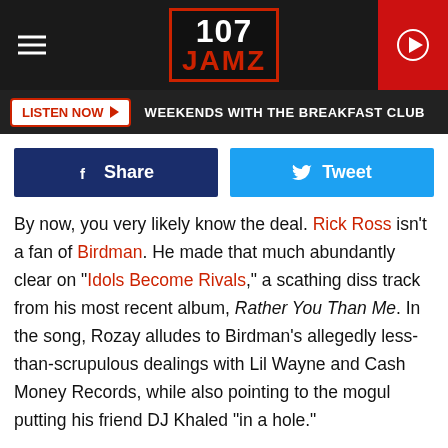[Figure (logo): 107 JAMZ radio station logo with red border on dark background header, hamburger menu icon on left, red play button on right]
LISTEN NOW ▶  WEEKENDS WITH THE BREAKFAST CLUB
[Figure (infographic): Facebook Share button (dark blue) and Twitter Tweet button (light blue) side by side]
By now, you very likely know the deal. Rick Ross isn't a fan of Birdman. He made that much abundantly clear on "Idols Become Rivals," a scathing diss track from his most recent album, Rather You Than Me. In the song, Rozay alludes to Birdman's allegedly less-than-scrupulous dealings with Lil Wayne and Cash Money Records, while also pointing to the mogul putting his friend DJ Khaled "in a hole."
During a recent stop on Atlanta radio station Hot 107.9, Rozay reaffirmed his hard feelings toward Birdman, going as